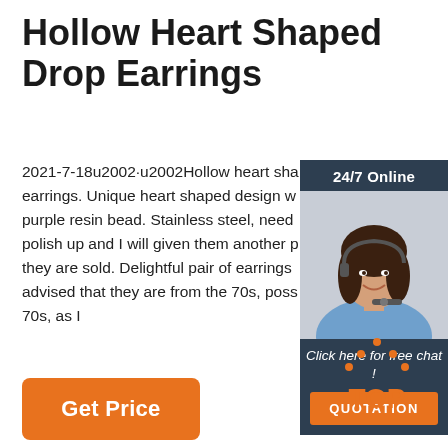Hollow Heart Shaped Drop Earrings
2021-7-18u2002·u2002Hollow heart shaped earrings. Unique heart shaped design with purple resin bead. Stainless steel, need polish up and I will given them another polish they are sold. Delightful pair of earrings advised that they are from the 70s, possibly 70s, as I
[Figure (photo): Customer service chat widget with 24/7 Online label, photo of a smiling woman with headset, 'Click here for free chat!' text, and an orange QUOTATION button]
[Figure (other): Orange TOP icon with dots forming a triangle shape above the letters TOP]
Get Price